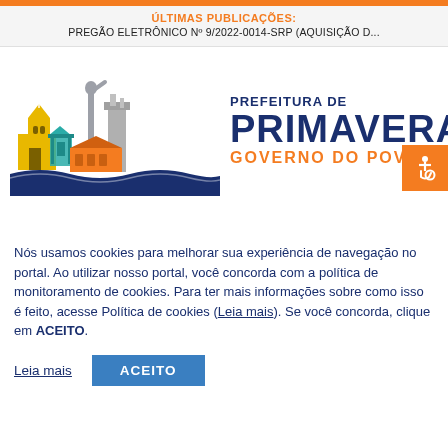ÚLTIMAS PUBLICAÇÕES: PREGÃO ELETRÔNICO Nº 9/2022-0014-SRP (AQUISIÇÃO D...
[Figure (logo): Prefeitura de Primavera - Governo do Povo logo with city skyline illustration including church, statue, buildings and waves]
Nós usamos cookies para melhorar sua experiência de navegação no portal. Ao utilizar nosso portal, você concorda com a política de monitoramento de cookies. Para ter mais informações sobre como isso é feito, acesse Política de cookies (Leia mais). Se você concorda, clique em ACEITO.
Leia mais   ACEITO